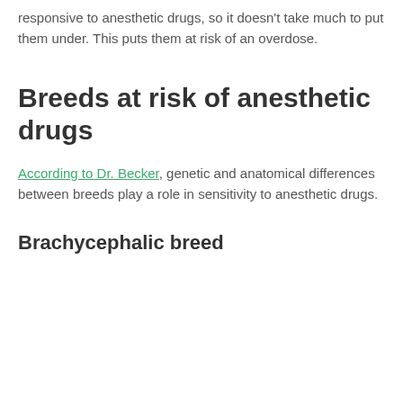responsive to anesthetic drugs, so it doesn't take much to put them under. This puts them at risk of an overdose.
Breeds at risk of anesthetic drugs
According to Dr. Becker, genetic and anatomical differences between breeds play a role in sensitivity to anesthetic drugs.
Brachycephalic breed